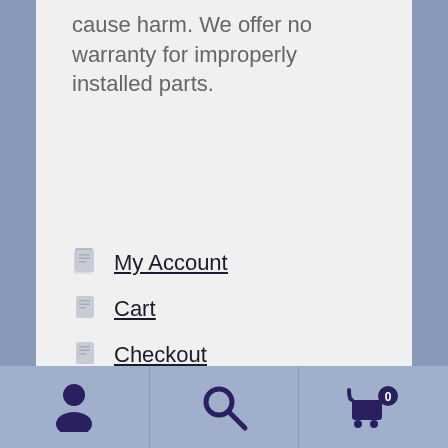cause harm. We offer no warranty for improperly installed parts.
My Account
Cart
Checkout
Shop
On Sale
HGW on eBay